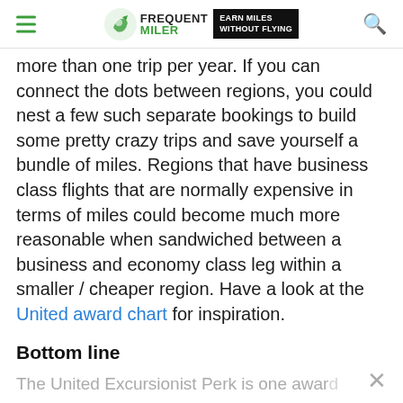FREQUENT MILER | EARN MILES WITHOUT FLYING
more than one trip per year. If you can connect the dots between regions, you could nest a few such separate bookings to build some pretty crazy trips and save yourself a bundle of miles. Regions that have business class flights that are normally expensive in terms of miles could become much more reasonable when sandwiched between a business and economy class leg within a smaller / cheaper region. Have a look at the United award chart for inspiration.
Bottom line
The United Excursionist Perk is one award